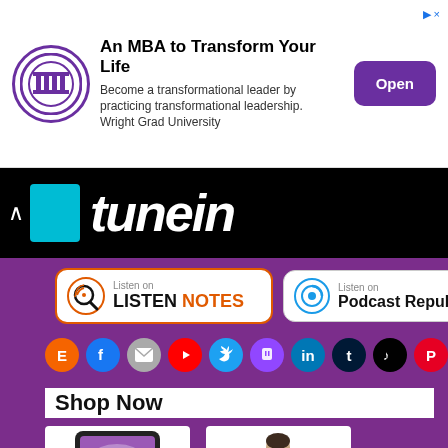[Figure (screenshot): Advertisement banner: Wright Grad University logo, text 'An MBA to Transform Your Life', subtitle 'Become a transformational leader by practicing transformational leadership. Wright Grad University', and a purple 'Open' button]
[Figure (screenshot): TuneIn logo banner: black background with teal rectangle, chevron up arrow, and TuneIn text in white]
[Figure (screenshot): Listen on Listen Notes button with orange border and logo]
[Figure (screenshot): Listen on Podcast Republic button with gray border and logo]
[Figure (infographic): Row of social media icons: Etsy, Facebook, Email, YouTube, Twitter, Twitch, LinkedIn, Tumblr, TikTok, Pinterest, Instagram]
Shop Now
[Figure (photo): Product image: tablet with colorful spiral tie-dye design being touched by a hand]
[Figure (photo): Product image: person wearing blue flowing cape/robe]